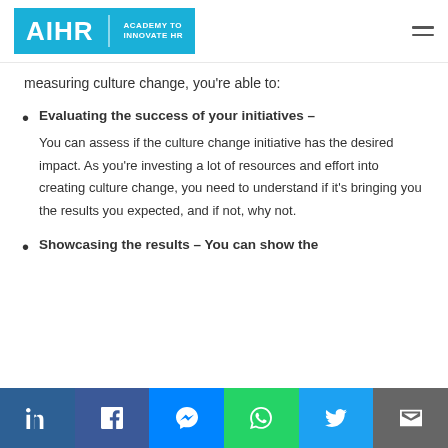AIHR | ACADEMY TO INNOVATE HR
measuring culture change, you’re able to:
Evaluating the success of your initiatives – You can assess if the culture change initiative has the desired impact. As you’re investing a lot of resources and effort into creating culture change, you need to understand if it’s bringing you the results you expected, and if not, why not.
Showcasing the results – You can show the
LinkedIn | Facebook | Messenger | WhatsApp | Twitter | Email